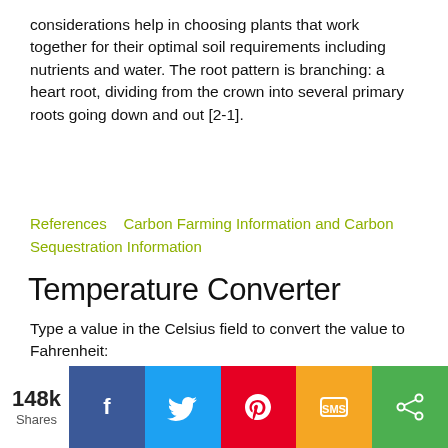considerations help in choosing plants that work together for their optimal soil requirements including nutrients and water. The root pattern is branching: a heart root, dividing from the crown into several primary roots going down and out [2-1].
References   Carbon Farming Information and Carbon Sequestration Information
Temperature Converter
Type a value in the Celsius field to convert the value to Fahrenheit:
Celsius   [Celsius input]   Fahrenheit:
148k Shares [Facebook] [Twitter] [Pinterest] [SMS] [Share]